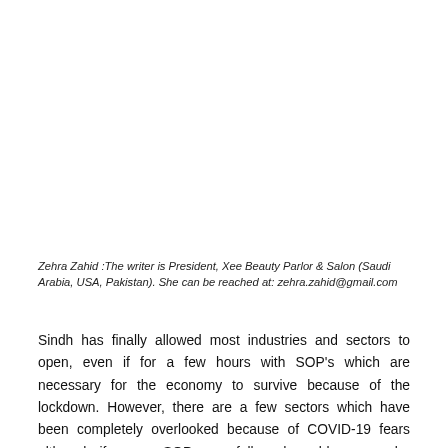Zehra Zahid :The writer is President, Xee Beauty Parlor & Salon (Saudi Arabia, USA, Pakistan). She can be reached at: zehra.zahid@gmail.com
Sindh has finally allowed most industries and sectors to open, even if for a few hours with SOP's which are necessary for the economy to survive because of the lockdown. However, there are a few sectors which have been completely overlooked because of COVID-19 fears although if proper SOPs are followed, problems can be minimised. Parlours and salons have not been able to open for the past